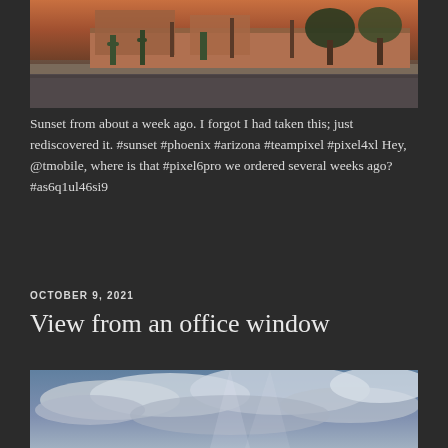[Figure (photo): Sunset photo of a residential street with desert landscaping, cacti, adobe-style houses, trees, and a sidewalk in warm evening light.]
Sunset from about a week ago. I forgot I had taken this; just rediscovered it. #sunset #phoenix #arizona #teampixel #pixel4xl Hey, @tmobile, where is that #pixel6pro we ordered several weeks ago? #as6q1ul46si9
OCTOBER 9, 2021
View from an office window
[Figure (photo): Dramatic cloudy sky with blue tones and light breaking through clouds, viewed from an office window.]